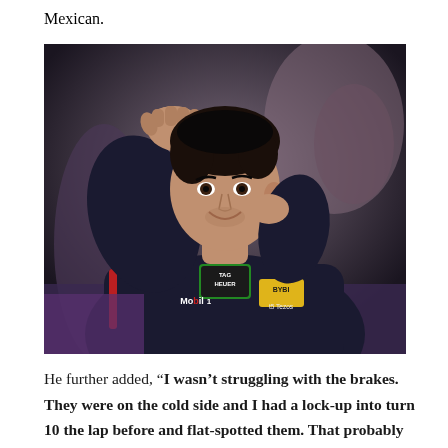Mexican.
[Figure (photo): A Formula 1 racing driver in a Red Bull Racing suit (TAG Heuer, Mobil 1, BYBI, Tezos logos visible) raising his right fist in celebration, smiling, with blurred crowd and cameras in the background.]
He further added, “I wasn’t struggling with the brakes. They were on the cold side and I had a lock-up into turn 10 the lap before and flat-spotted them. That probably meant I was a bit out of shape. Going into turn three I became just a passenger as soon as I touched the